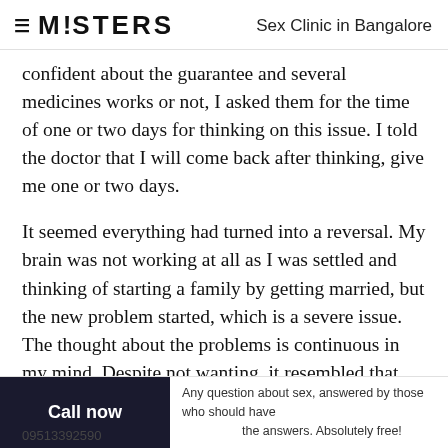≡ M!STERS   Sex Clinic in Bangalore
confident about the guarantee and several medicines works or not, I asked them for the time of one or two days for thinking on this issue. I told the doctor that I will come back after thinking, give me one or two days.
It seemed everything had turned into a reversal. My brain was not working at all as I was settled and thinking of starting a family by getting married, but the new problem started, which is a severe issue. The thought about the problems is continuous in my mind. Despite not wanting, it resembled that even if I think of
Call now   Any question about sex, answered by those who should have the answers. Absolutely free!   09513392590